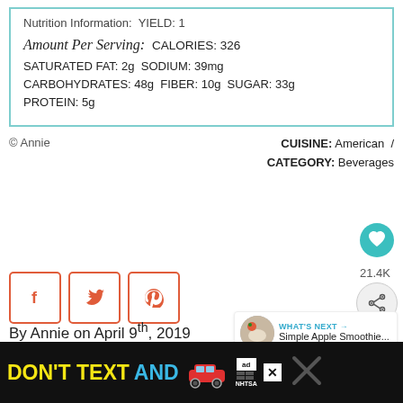| Nutrition Information: YIELD: 1 |
| Amount Per Serving: CALORIES: 326 |
| SATURATED FAT: 2g SODIUM: 39mg |
| CARBOHYDRATES: 48g FIBER: 10g SUGAR: 33g |
| PROTEIN: 5g |
© Annie
CUISINE: American / CATEGORY: Beverages
[Figure (other): Heart/like button icon (teal circle with heart)]
[Figure (other): Social share buttons: Facebook, Twitter, Pinterest icons in orange-bordered square buttons]
21.4K
[Figure (other): Share icon button]
By Annie on April 9th, 2019
[Figure (other): WHAT'S NEXT arrow: Simple Apple Smoothie... thumbnail with apple smoothie image]
44 thoughts on “Mango Avocado Smoothie”
[Figure (other): Ad banner: DON'T TEXT AND [car image] ad logo NHTSA with X close buttons]